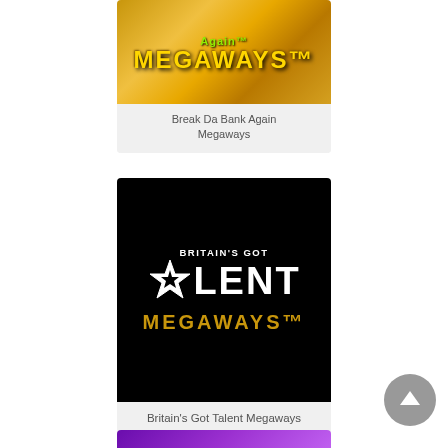[Figure (screenshot): Break Da Bank Again Megaways slot game thumbnail with golden background and stylized Megaways text]
Break Da Bank Again Megaways
[Figure (screenshot): Britain's Got Talent Megaways slot game thumbnail with black background, white Britain's Got Talent logo and gold Megaways text]
Britain's Got Talent Megaways
[Figure (screenshot): Partial view of another slot game thumbnail at the bottom of the page, purple background]